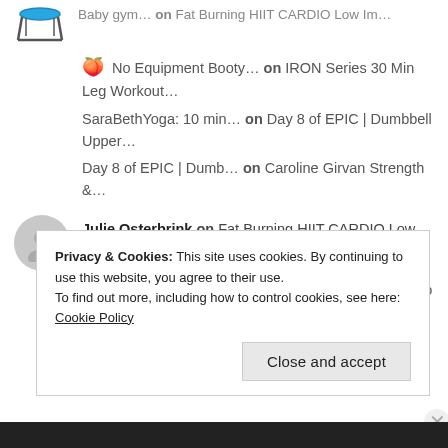[trampoline icon] Baby gym... on Fat Burning HIIT CARDIO Low Im...
🍑 No Equipment Booty... on IRON Series 30 Min Leg Workout...
SaraBethYoga: 10 min... on Day 8 of EPIC | Dumbbell Upper...
Day 8 of EPIC | Dumb... on Caroline Girvan Strength &...
Julie Osterbrink on Fat Burning HIIT CARDIO Low Im...
Fat Burning HIIT CAR... on 15 MIN Trampoline Cardio Jump...
Privacy & Cookies: This site uses cookies. By continuing to use this website, you agree to their use.
To find out more, including how to control cookies, see here: Cookie Policy
Close and accept